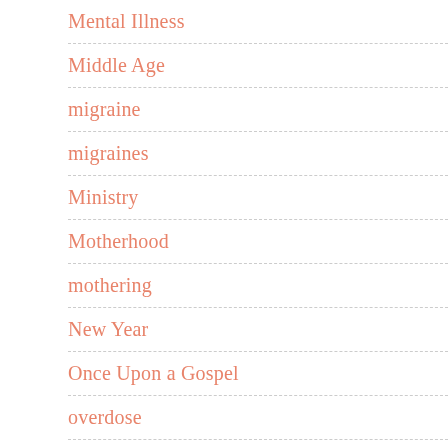Mental Illness
Middle Age
migraine
migraines
Ministry
Motherhood
mothering
New Year
Once Upon a Gospel
overdose
pandemic